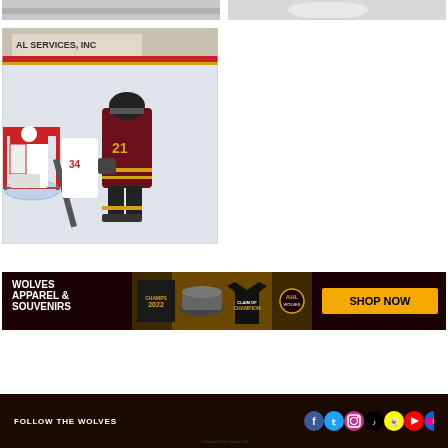[Figure (photo): Partial hockey action photo at top left, cropped]
[Figure (photo): Partial hockey/sports photo at top right, cropped]
[Figure (photo): Hockey action photo: player #21 in maroon and gold uniform skating near goal, goalie in white and red in background, ice rink arena setting]
[Figure (infographic): Wolves Apparel & Souvenirs advertisement banner with merchandise items (t-shirts, hat, cap) and SHOP NOW button in gold. Text: WOLVES APPAREL & SOUVENIRS, CHAMPS 2022. Dark maroon/gold/black background.]
FOLLOW THE WOLVES